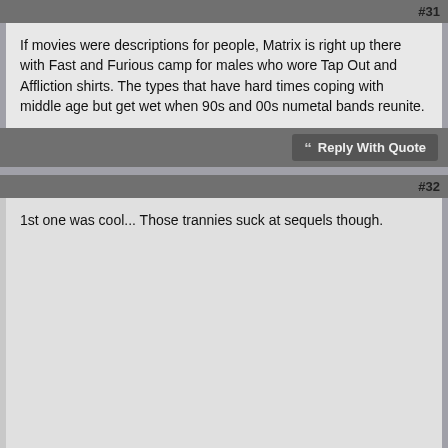#31
If movies were descriptions for people, Matrix is right up there with Fast and Furious camp for males who wore Tap Out and Affliction shirts. The types that have hard times coping with middle age but get wet when 90s and 00s numetal bands reunite.
Reply With Quote
#32
1st one was cool... Those trannies suck at sequels though.